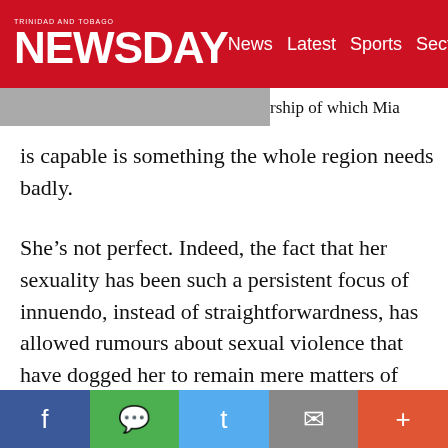TRINIDAD AND TOBAGO NEWSDAY | News Latest Sports Sections
rship of which Mia is capable is something the whole region needs badly.
She’s not perfect. Indeed, the fact that her sexuality has been such a persistent focus of innuendo, instead of straightforwardness, has allowed rumours about sexual violence that have dogged her to remain mere matters of scandal and not accountability, in ways they might not with a male politician.
I met Mottley in Port of Spain just seven years